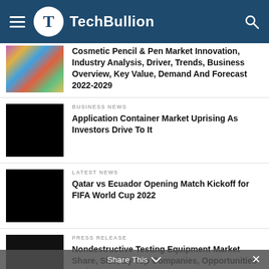TechBullion
Cosmetic Pencil & Pen Market Innovation, Industry Analysis, Driver, Trends, Business Overview, Key Value, Demand And Forecast 2022-2029
BUSINESS NEWS
Application Container Market Uprising As Investors Drive To It
LATEST NEWS
Qatar vs Ecuador Opening Match Kickoff for FIFA World Cup 2022
PRESS RELEASE
Nondestructive Testing Equipment Market Share, Size, By Top Companies, Opportunities And Forecast 2030
Share This